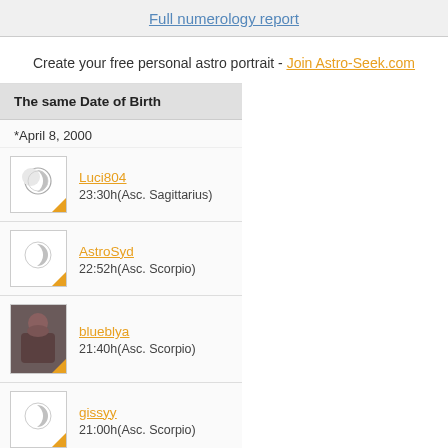Full numerology report
Create your free personal astro portrait - Join Astro-Seek.com
The same Date of Birth
*April 8, 2000
Luci804 — 23:30h(Asc. Sagittarius)
AstroSyd — 22:52h(Asc. Scorpio)
blueblya — 21:40h(Asc. Scorpio)
gissyy — 21:00h(Asc. Scorpio)
Carsynbrown